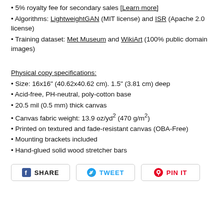• 5% royalty fee for secondary sales [Learn more]
• Algorithms: LightweightGAN (MIT license) and ISR (Apache 2.0 license)
• Training dataset: Met Museum and WikiArt (100% public domain images)
Physical copy specifications:
• Size: 16x16" (40.62x40.62 cm). 1.5" (3.81 cm) deep
• Acid-free, PH-neutral, poly-cotton base
• 20.5 mil (0.5 mm) thick canvas
• Canvas fabric weight: 13.9 oz/yd² (470 g/m²)
• Printed on textured and fade-resistant canvas (OBA-Free)
• Mounting brackets included
• Hand-glued solid wood stretcher bars
[Figure (infographic): Social sharing buttons: SHARE (Facebook), TWEET (Twitter), PIN IT (Pinterest)]